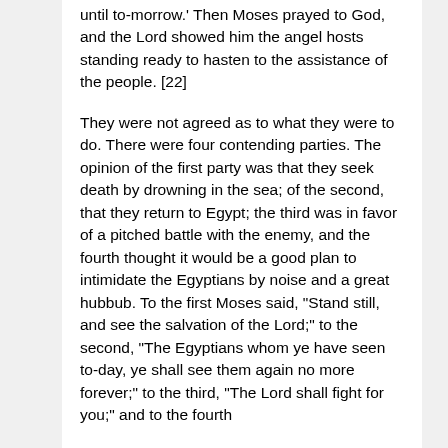until to-morrow.' Then Moses prayed to God, and the Lord showed him the angel hosts standing ready to hasten to the assistance of the people. [22]
They were not agreed as to what they were to do. There were four contending parties. The opinion of the first party was that they seek death by drowning in the sea; of the second, that they return to Egypt; the third was in favor of a pitched battle with the enemy, and the fourth thought it would be a good plan to intimidate the Egyptians by noise and a great hubbub. To the first Moses said, "Stand still, and see the salvation of the Lord;" to the second, "The Egyptians whom ye have seen to-day, ye shall see them again no more forever;" to the third, "The Lord shall fight for you;" and to the fourth